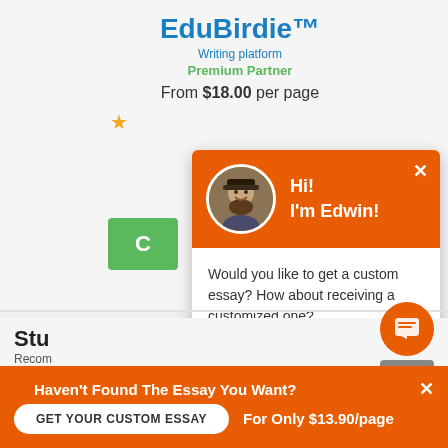EduBirdie™
Writing platform
Premium Partner
From $18.00 per page
[Figure (screenshot): Chat popup with avatar of Edwin, orange header, message asking about custom essay, with Check it out link]
Stu
Recom
From $
4,075
GET HELP
Haven't Found The Essay You Want?
GET YOUR CUSTOM ESSAY
For Only $13.90/page